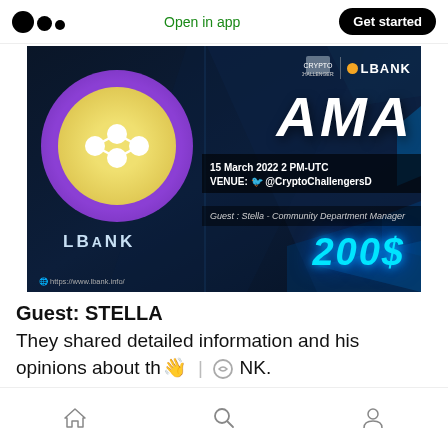Open in app | Get started
[Figure (photo): LBank AMA promotional banner. Shows LBank logo (yellow coin with white molecular icon inside purple ring), text 'AMA', date '15 March 2022 2 PM-UTC', venue '@CryptoChallengersD', guest 'Stella - Community Department Manager', prize '200$', website 'https://www.lbank.info/'. Dark navy blue background with geometric shapes.]
Guest: STELLA
They shared detailed information and his opinions about th  NK.
Home | Search | Profile